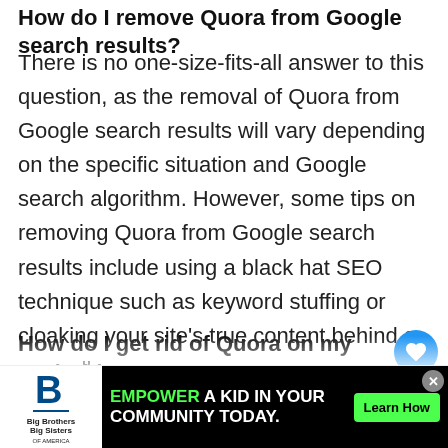How do I remove Quora from Google search results?
There is no one-size-fits-all answer to this question, as the removal of Quora from Google search results will vary depending on the specific situation and Google search algorithm. However, some tips on removing Quora from Google search results include using a black hat SEO technique such as keyword stuffing or cloaking your site's true content behind a paywall.
How do I get rid of Quora on my Android?
If you're looking for an easy way to get rid of Quora on your Android device, there's a quick and simple solu… Simply open the app's Settings menu and select
[Figure (other): Advertisement banner: Big Brothers Big Sisters logo on left, black background with text 'EMPOWER A KID IN YOUR COMMUNITY TODAY.' with green button 'Learn How', close button top right]